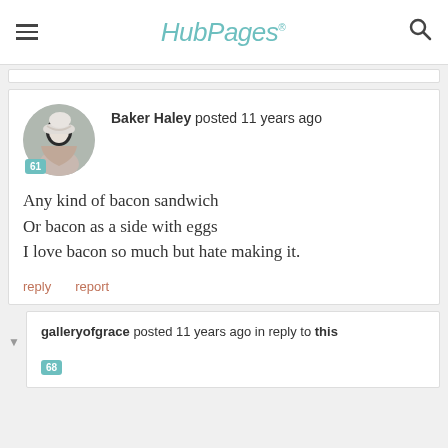HubPages
Baker Haley posted 11 years ago
Any kind of bacon sandwich
Or bacon as a side with eggs
I love bacon so much but hate making it.
reply  report
galleryofgrace posted 11 years ago in reply to this